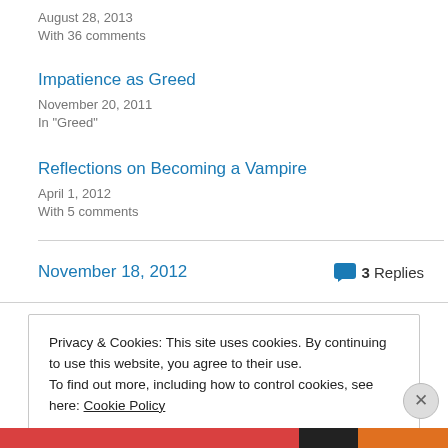August 28, 2013
With 36 comments
Impatience as Greed
November 20, 2011
In "Greed"
Reflections on Becoming a Vampire
April 1, 2012
With 5 comments
November 18, 2012
3 Replies
Privacy & Cookies: This site uses cookies. By continuing to use this website, you agree to their use.
To find out more, including how to control cookies, see here: Cookie Policy
Close and accept